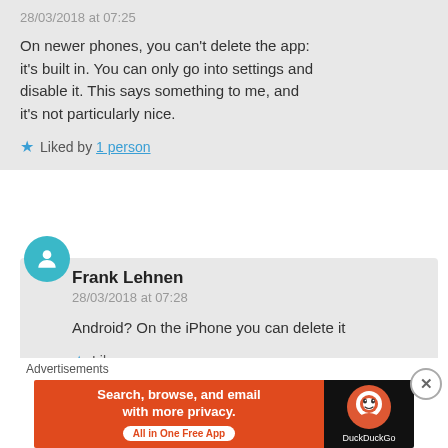28/03/2018 at 07:25
On newer phones, you can't delete the app: it's built in. You can only go into settings and disable it. This says something to me, and it's not particularly nice.
Liked by 1 person
Frank Lehnen
28/03/2018 at 07:28
Android? On the iPhone you can delete it
Like
Advertisements
[Figure (infographic): DuckDuckGo advertisement banner: orange left panel with text 'Search, browse, and email with more privacy. All in One Free App' and black right panel with DuckDuckGo logo and text.]